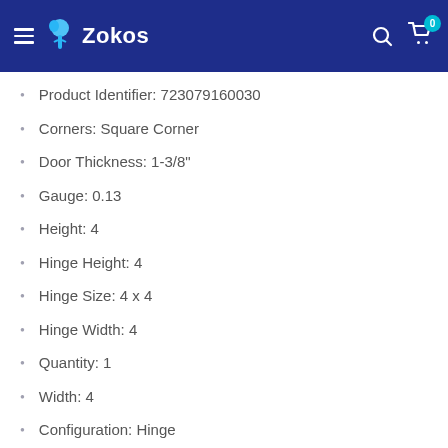Zokos
Product Identifier: 723079160030
Corners: Square Corner
Door Thickness: 1-3/8"
Gauge: 0.13
Height: 4
Hinge Height: 4
Hinge Size: 4 x 4
Hinge Width: 4
Quantity: 1
Width: 4
Configuration: Hinge
Function: Hinge